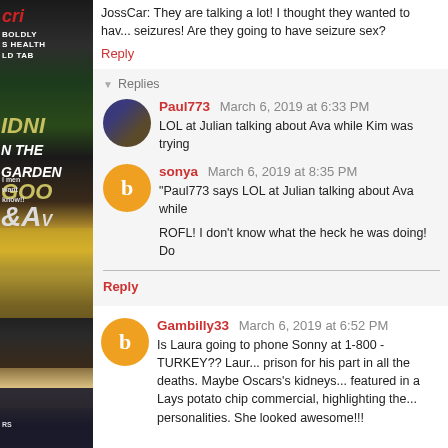[Figure (other): Sidebar with magazine cover partial image, dark background with text overlays including 'IDNI', 'GOO', and other partial text, plus decorative colors]
JossCar: They are talking a lot! I thought they wanted to have seizures! Are they going to have seizure sex?
Reply
Replies
Paul773  March 6, 2019 at 6:33 PM
LOL at Julian talking about Ava while Kim was trying
sonya  March 6, 2019 at 8:35 PM
"Paul773 says LOL at Julian talking about Ava while
ROFL! I don't know what the heck he was doing! Do
Reply
Gambilly33  March 6, 2019 at 6:52 PM
Is Laura going to phone Sonny at 1-800 - TURKEY?? Laura prison for his part in all the deaths. Maybe Oscars's kidneys featured in a Lays potato chip commercial, highlighting the personalities. She looked awesome!!!